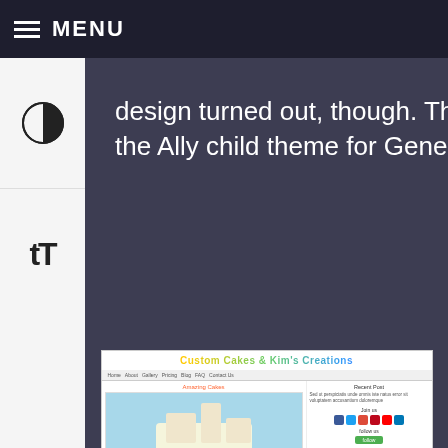MENU
design turned out, though. Theme is based on the Ally child theme for Genesis from Appfinite.
[Figure (screenshot): Screenshot of 'Custom Cakes & Kim's Creations' website showing a colorful header with a cake photo and sidebar with social media icons]
[Figure (other): Contrast toggle icon (half-circle black/white) on left sidebar]
[Figure (other): Text size toggle icon (tT) on left sidebar]